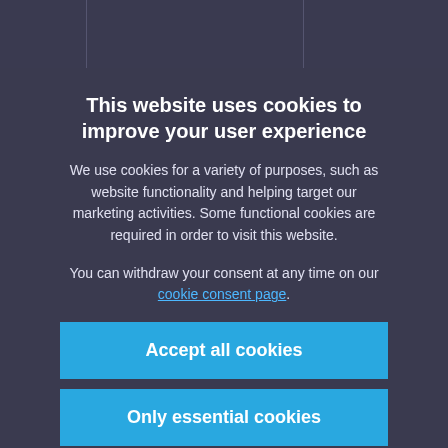This website uses cookies to improve your user experience
We use cookies for a variety of purposes, such as website functionality and helping target our marketing activities. Some functional cookies are required in order to visit this website.
You can withdraw your consent at any time on our cookie consent page.
Accept all cookies
Only essential cookies
Manage cookie settings
LEARN
ASML at a glance
History
Products
Technology
Sustainability
News
ASML Foundation